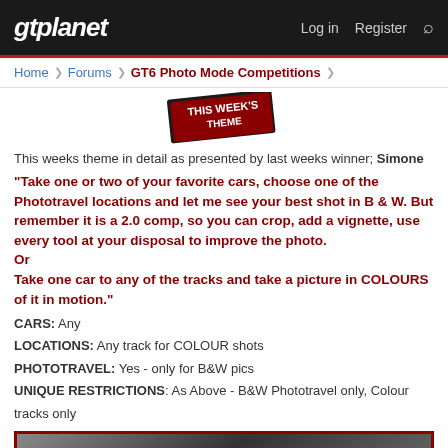gtplanet | Log in | Register
Home > Forums > GT6 Photo Mode Competitions >
[Figure (illustration): Red ribbon badge with text THIS WEEK'S THEME]
This weeks theme in detail as presented by last weeks winner; Simone
"Take one or two of your favorite cars, choose one of the Phototravel locations and let me see your best shot in B & W. But remember it is a 2.0 comp, so you can crop, add a vignette, use every tool at your disposal to improve the photo.
Or
Take one car to any of the tracks and take a picture in COLOURS of it in motion."
CARS: Any
LOCATIONS: Any track for COLOUR shots
PHOTOTRAVEL: Yes - only for B&W pics
UNIQUE RESTRICTIONS: As Above - B&W Phototravel only, Colour tracks only
[Figure (photo): Partial car photo with red border at bottom of page]